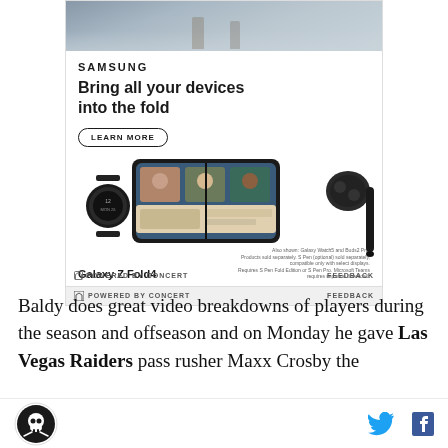[Figure (photo): Samsung Galaxy Z Fold4 advertisement showing the device with a video call on screen, a Galaxy Watch, Galaxy Buds Pro, and an S Pen. Text reads: SAMSUNG, Bring all your devices into the fold, LEARN MORE, Galaxy Z Fold4. Also shown: Galaxy Watch5 and Buds2 Pro.]
⊟ POWERED BY CONCERT   FEEDBACK
Baldy does great video breakdowns of players during the season and offseason and on Monday he gave Las Vegas Raiders pass rusher Maxx Crosby the